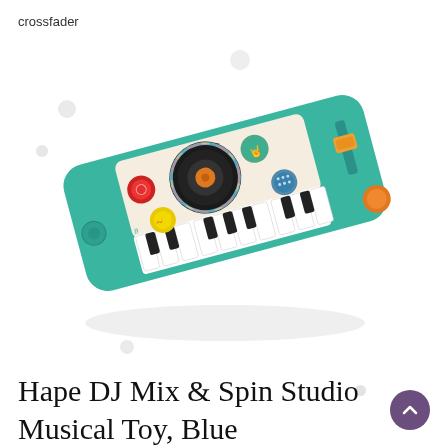crossfader
[Figure (photo): Hape DJ Mix & Spin Studio Musical Toy in blue/teal color, shown at an angle. The toy features piano keys at the front, a spinning turntable disc in the center, colorful buttons (red, yellow, green), a crossfader slider, and orange knobs. The body is teal/mint green.]
Hape DJ Mix & Spin Studio Musical Toy, Blue